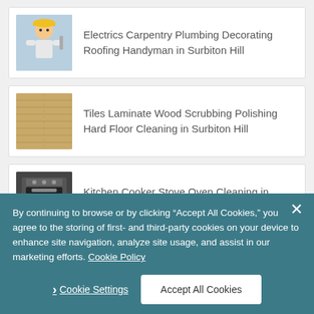Electrics Carpentry Plumbing Decorating Roofing Handyman in Surbiton Hill
Tiles Laminate Wood Scrubbing Polishing Hard Floor Cleaning in Surbiton Hill
Kitchen Cooker Stove Oven Cleaning in Surbiton Hill
Domestic & Commercial Insect Rodent Bird Bed Bugs Pest Control in Surbiton Hill
By continuing to browse or by clicking “Accept All Cookies,” you agree to the storing of first- and third-party cookies on your device to enhance site navigation, analyze site usage, and assist in our marketing efforts. Cookie Policy